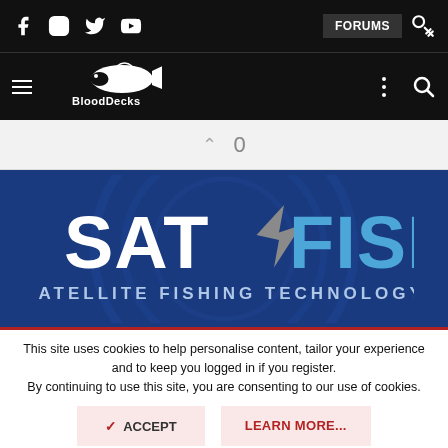BloodDecks website header with social icons (Facebook, Instagram, Twitter, YouTube), FORUMS button, and BloodDecks logo
0
[Figure (logo): SATFISH - Satellite Fishing Technology logo on blue background with silver arrow/fish icon]
This site uses cookies to help personalise content, tailor your experience and to keep you logged in if you register.
By continuing to use this site, you are consenting to our use of cookies.
✓ ACCEPT
LEARN MORE...